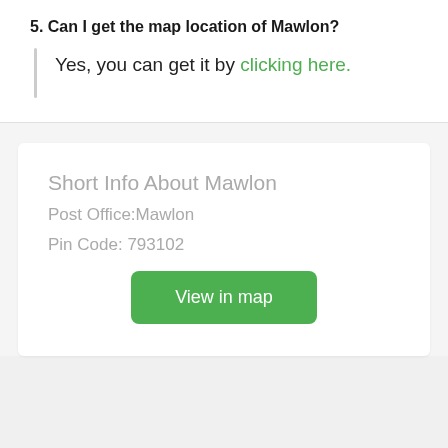5. Can I get the map location of Mawlon?
Yes, you can get it by clicking here.
Short Info About Mawlon
Post Office:Mawlon
Pin Code: 793102
[Figure (other): Green button labeled 'View in map']